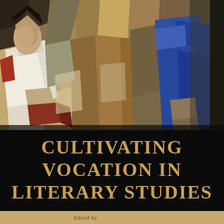[Figure (illustration): Cubist painting showing figures in fragmented geometric style, reminiscent of Picasso's work. A seated figure on the left holds an open book, while a standing blue-clad figure appears on the right. The palette includes ochres, tans, whites, greens, and blues.]
CULTIVATING VOCATION IN LITERARY STUDIES
Edited by ...